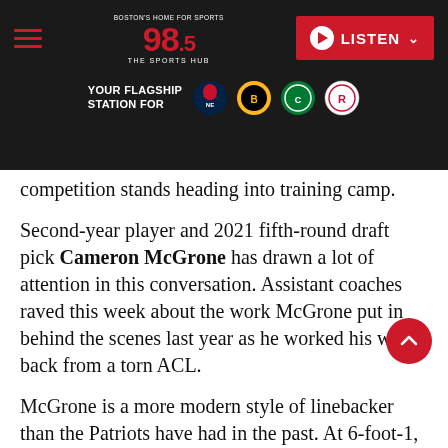[Figure (screenshot): 98.5 The Sports Hub radio station website header with navigation bar, logo, LISTEN button, and team logos for Patriots, Bruins, Celtics, and Revolution]
competition stands heading into training camp.
Second-year player and 2021 fifth-round draft pick Cameron McGrone has drawn a lot of attention in this conversation. Assistant coaches raved this week about the work McGrone put in behind the scenes last year as he worked his way back from a torn ACL.
McGrone is a more modern style of linebacker than the Patriots have had in the past. At 6-foot-1, 236 pounds he has the quickness to